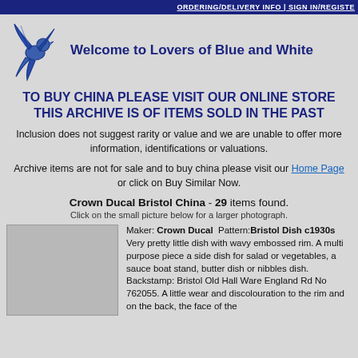ORDERING/DELIVERY INFO | SIGN IN/REGISTER
[Figure (illustration): Blue and white bird logo (swallow/swift) illustration in blue ink]
Welcome to Lovers of Blue and White
TO BUY CHINA PLEASE VISIT OUR ONLINE STORE THIS ARCHIVE IS OF ITEMS SOLD IN THE PAST
Inclusion does not suggest rarity or value and we are unable to offer more information, identifications or valuations.
Archive items are not for sale and to buy china please visit our Home Page or click on Buy Similar Now.
Crown Ducal Bristol China - 29 items found.
Click on the small picture below for a larger photograph.
Maker: Crown Ducal  Pattern:Bristol Dish c1930s
Very pretty little dish with wavy embossed rim. A multi purpose piece a side dish for salad or vegetables, a sauce boat stand, butter dish or nibbles dish. Backstamp: Bristol Old Hall Ware England Rd No 762055. A little wear and discolouration to the rim and on the back, the face of the